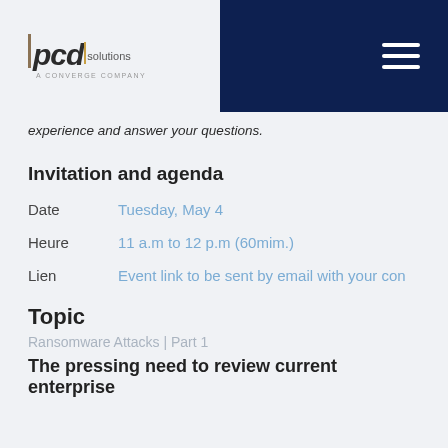pcd solutions — A Converge Company
experience and answer your questions.
Invitation and agenda
Date   Tuesday, May 4
Heure   11 a.m to 12 p.m (60mim.)
Lien   Event link to be sent by email with your con
Topic
Ransomware Attacks | Part 1
The pressing need to review current enterprise